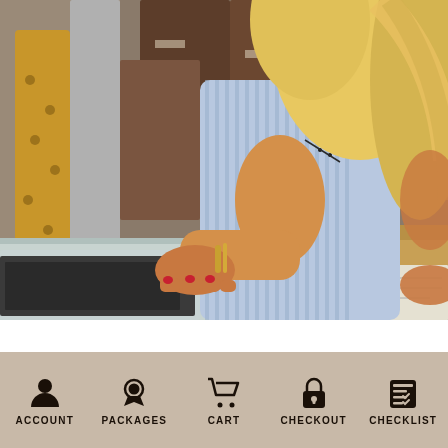[Figure (photo): A blonde woman in a blue and white striped shirt typing on a laptop at a desk surrounded by cardboard shipping boxes and packaging materials.]
ACCOUNT
PACKAGES
CART
CHECKOUT
CHECKLIST